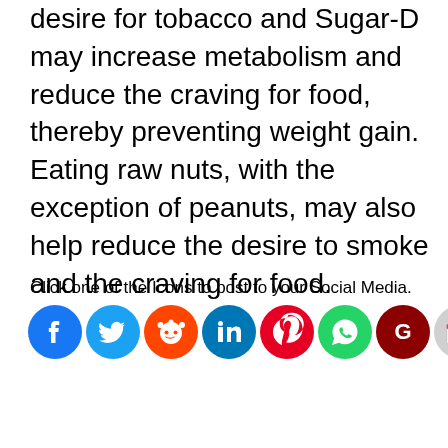...important. Vitamin may help reduce the desire for tobacco and Sugar-D may increase metabolism and reduce the craving for food, thereby preventing weight gain. Eating raw nuts, with the exception of peanuts, may also help reduce the desire to smoke and the craving for food.
Click one of the Icons to post to your Social Media.
[Figure (infographic): Social media sharing icons in a row: Facebook (blue), Twitter (blue), Reddit (orange), LinkedIn (teal), Pinterest (red), WhatsApp (green), Google (dark red), Gmail (grey/red envelope), Instagram (purple gradient)]